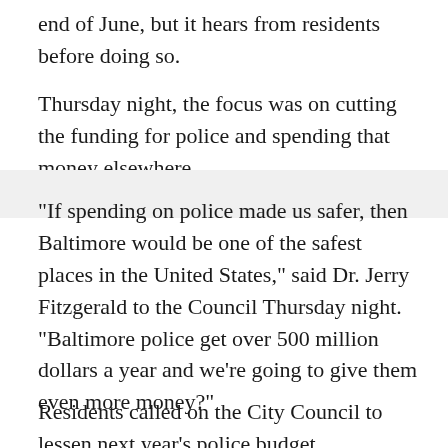end of June, but it hears from residents before doing so.
Thursday night, the focus was on cutting the funding for police and spending that money elsewhere.
"If spending on police made us safer, then Baltimore would be one of the safest places in the United States," said Dr. Jerry Fitzgerald to the Council Thursday night. "Baltimore police get over 500 million dollars a year and we're going to give them even more money?"
Residents called on the City Council to lessen next year's police budget.